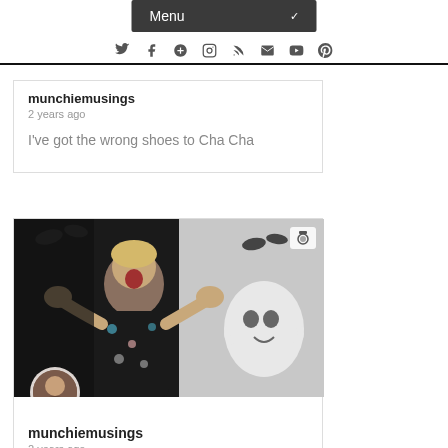Menu
[Figure (screenshot): Social media navigation bar with icons: Twitter, Facebook, Google+, Instagram, RSS, Email, YouTube, Pinterest]
munchiemusings
2 years ago
I've got the wrong shoes to Cha Cha
[Figure (photo): Woman with surprised/scared expression with hands raised, wearing a dark floral dress, standing in front of Halloween decorations including a ghost figure and bat cutouts]
munchiemusings
2 years ago
Loving using @enlightpixaloop